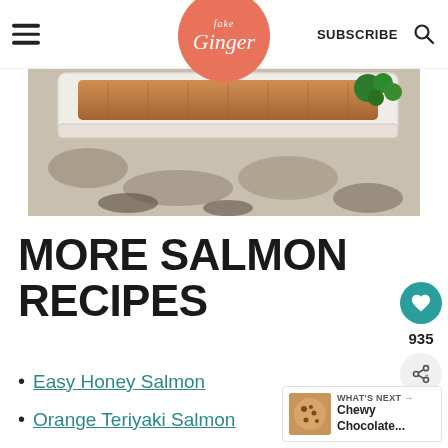Fake Ginger — SUBSCRIBE
[Figure (photo): Close-up photo of a baked salmon fillet in a white baking dish, with broccoli visible in the background, on a granite countertop.]
MORE SALMON RECIPES
Easy Honey Salmon
Orange Teriyaki Salmon